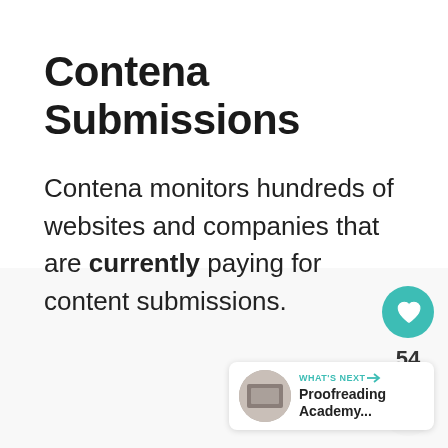Contena Submissions
Contena monitors hundreds of websites and companies that are currently paying for content submissions.
[Figure (infographic): Heart (like) button in teal circle, like count 54, and share button in light circle — social engagement UI elements on the right side of the page. Below is a 'What's Next' widget showing a thumbnail image and text 'Proofreading Academy...' with a teal label 'WHAT'S NEXT →'.]